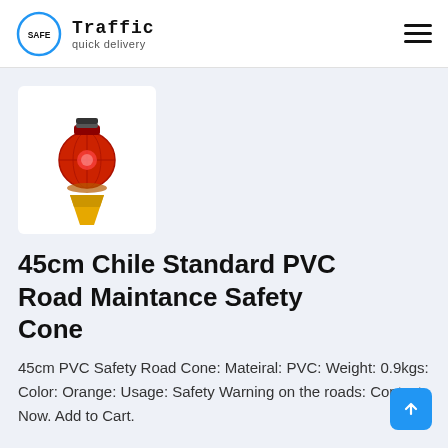Safe Traffic quick delivery
[Figure (photo): Red solar-powered safety warning light mounted on a yellow cone base]
45cm Chile Standard PVC Road Maintance Safety Cone
45cm PVC Safety Road Cone: Mateiral: PVC: Weight: 0.9kgs: Color: Orange: Usage: Safety Warning on the roads: Contact Now. Add to Cart.